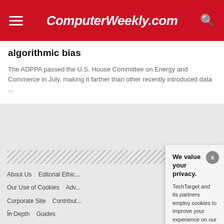ComputerWeekly.com
algorithmic bias
The ADPPA passed the U.S. House Committee on Energy and Commerce in July, making it farther than other recently introduced data ...
About Us   Editorial Ethic...   Our Use of Cookies   Adv...
Corporate Site   Contribut...   In Depth   Guides
Opinions   Quizzes   Ph...   Computer Weekly Topics
We value your privacy.
TechTarget and its partners employ cookies to improve your experience on our site, to analyze traffic and performance, and to serve personalized content and advertising that are relevant to your professional interests. You can manage your settings at any time. Please view our Privacy Policy for more information